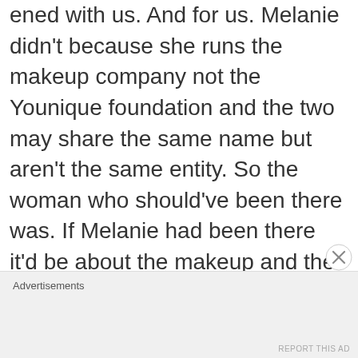ened with us. And for us. Melanie didn't because she runs the makeup company not the Younique foundation and the two may share the same name but aren't the same entity. So the woman who should've been there was. If Melanie had been there it'd be about the makeup and the Haven has nothing to do with it. Other than being largely funded by it. So kindly, screw your opinion. This place is saving women's lives.
Advertisements